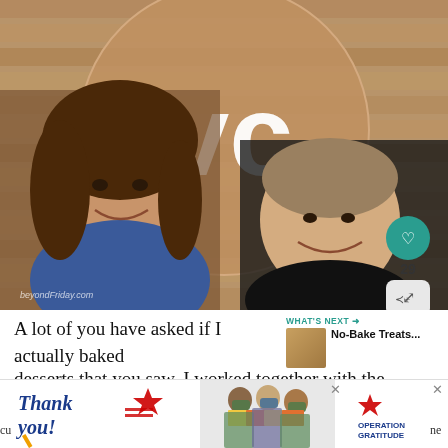[Figure (photo): Two women smiling in front of a circular wooden sign with white letters 'OVC'. Social media style photo with a heart icon showing 29 likes and a share button.]
A lot of you have asked if I actually baked desserts that you saw. I worked together with the cu... sh...
[Figure (infographic): Advertisement banner: 'Thank you' on left with US flag star graphic, people holding cards in center, Operation Gratitude logo on right, with close X buttons.]